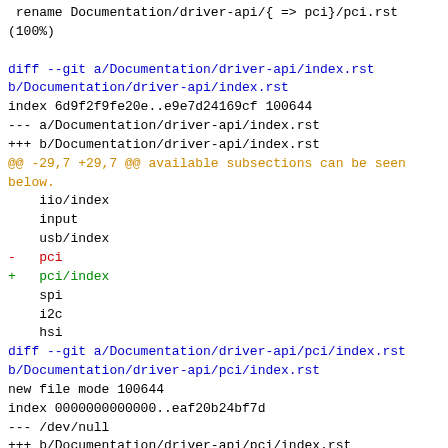rename Documentation/driver-api/{ => pci}/pci.rst
(100%)

diff --git a/Documentation/driver-api/index.rst
b/Documentation/driver-api/index.rst
index 6d9f2f9fe20e..e9e7d24169cf 100644
--- a/Documentation/driver-api/index.rst
+++ b/Documentation/driver-api/index.rst
@@ -29,7 +29,7 @@ available subsections can be seen
below.
    iio/index
    input
    usb/index
-   pci
+   pci/index
    spi
    i2c
    hsi
diff --git a/Documentation/driver-api/pci/index.rst
b/Documentation/driver-api/pci/index.rst
new file mode 100644
index 0000000000000..eaf20b24bf7d
--- /dev/null
+++ b/Documentation/driver-api/pci/index.rst
@@ -0,0 +1,20 @@
+.. SPDX-License-Identifier: GPL-2.0
+===============================================
+The Linux PCI driver implementer's API guide
+===============================================
+